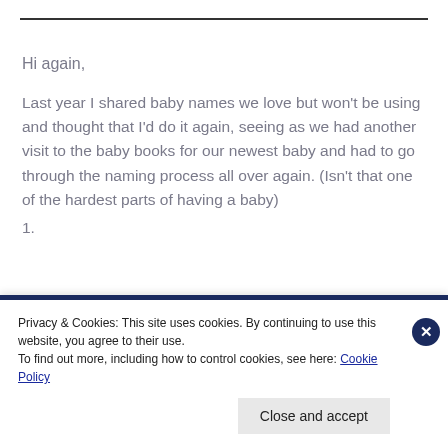Hi again,
Last year I shared baby names we love but won't be using and thought that I'd do it again, seeing as we had another visit to the baby books for our newest baby and had to go through the naming process all over again. (Isn't that one of the hardest parts of having a baby)
1.
Privacy & Cookies: This site uses cookies. By continuing to use this website, you agree to their use.
To find out more, including how to control cookies, see here: Cookie Policy
Close and accept